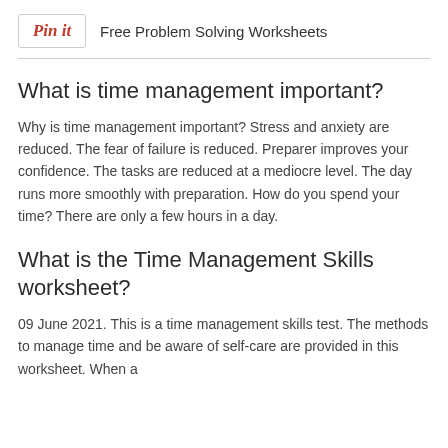[Figure (logo): Pinterest 'Pin it' button logo in red italic script font inside a white bordered box]
Free Problem Solving Worksheets
What is time management important?
Why is time management important? Stress and anxiety are reduced. The fear of failure is reduced. Preparer improves your confidence. The tasks are reduced at a mediocre level. The day runs more smoothly with preparation. How do you spend your time? There are only a few hours in a day.
What is the Time Management Skills worksheet?
09 June 2021. This is a time management skills test. The methods to manage time and be aware of self-care are provided in this worksheet. When a